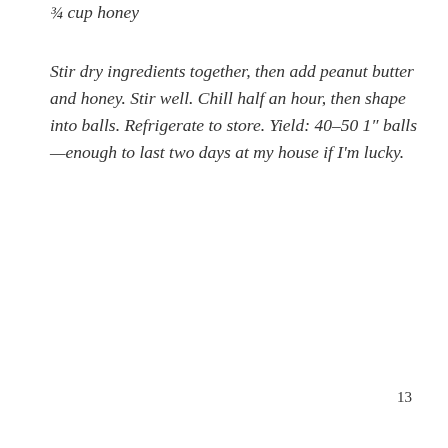¾ cup honey
Stir dry ingredients together, then add peanut butter and honey. Stir well. Chill half an hour, then shape into balls. Refrigerate to store. Yield: 40–50 1″ balls—enough to last two days at my house if I'm lucky.
13